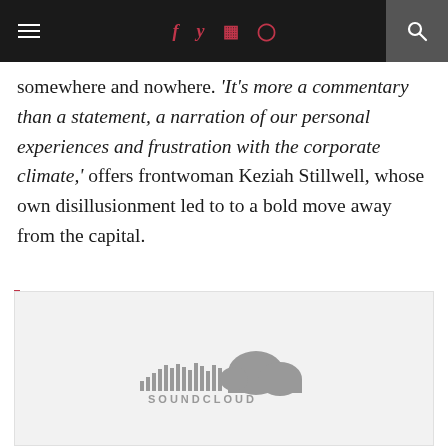≡  f  y  ☷  ⊕  🔍
somewhere and nowhere. 'It's more a commentary than a statement, a narration of our personal experiences and frustration with the corporate climate,' offers frontwoman Keziah Stillwell, whose own disillusionment led to to a bold move away from the capital.
[Figure (logo): SoundCloud embedded player widget with SoundCloud logo (cloud icon with waveform bars) and the text SOUNDCLOUD, displayed in gray on a light gray background.]